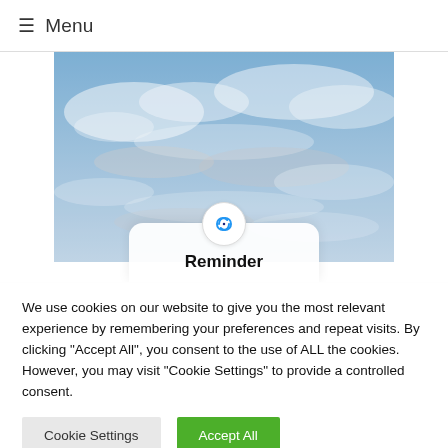≡ Menu
[Figure (screenshot): A sky with clouds background image, with a white card overlay at the bottom showing a reminder icon (infinity/link symbol) and bold text 'Reminder']
We use cookies on our website to give you the most relevant experience by remembering your preferences and repeat visits. By clicking "Accept All", you consent to the use of ALL the cookies. However, you may visit "Cookie Settings" to provide a controlled consent.
Cookie Settings
Accept All